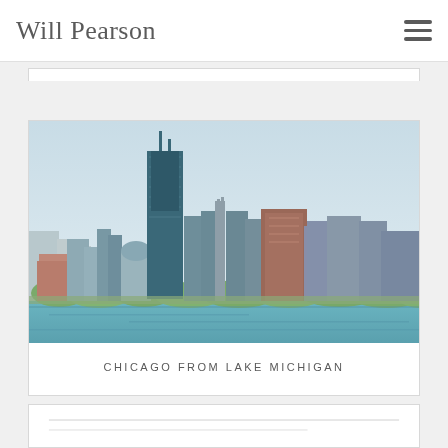Will Pearson
[Figure (photo): Chicago skyline viewed from Lake Michigan, showing the Willis Tower (Sears Tower) prominently in the center-left, with other skyscrapers and green trees along the waterfront in the foreground.]
CHICAGO FROM LAKE MICHIGAN